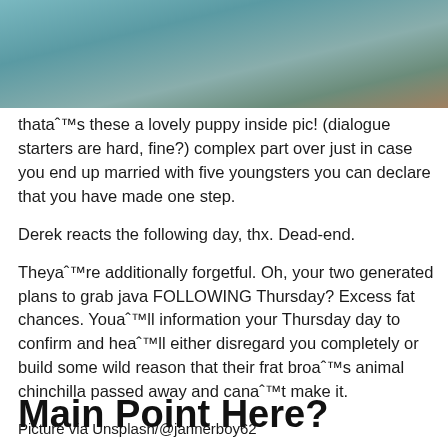[Figure (photo): Partial photo of a puppy or animal scene with muted teal and brown tones, cropped at the top of the page]
thataˆ™s these a lovely puppy inside pic! (dialogue starters are hard, fine?) complex part over just in case you end up married with five youngsters you can declare that you have made one step.
Derek reacts the following day, thx. Dead-end.
Theyaˆ™re additionally forgetful. Oh, your two generated plans to grab java FOLLOWING Thursday? Excess fat chances. Youaˆ™ll information your Thursday day to confirm and heaˆ™ll either disregard you completely or build some wild reason that their frat broaˆ™s animal chinchilla passed away and canaˆ™t make it.
Picture via Unsplash/@jannerboy62
Main Point Here?